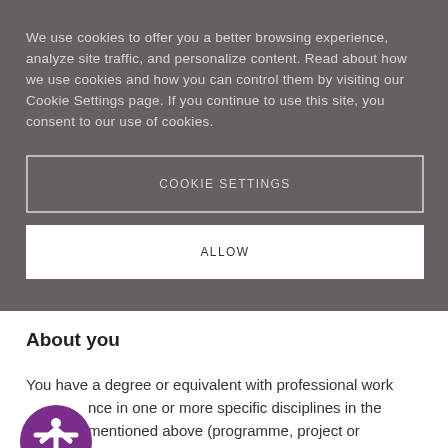We use cookies to offer you a better browsing experience, analyze site traffic, and personalize content. Read about how we use cookies and how you can control them by visiting our Cookie Settings page. If you continue to use this site, you consent to our use of cookies.
COOKIE SETTINGS
ALLOW
About you
You have a degree or equivalent with professional work experience in one or more specific disciplines in the above mentioned above (programme, project or